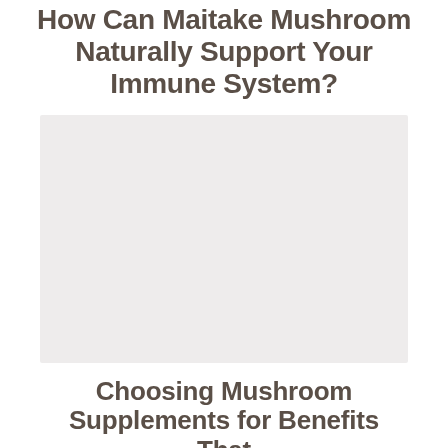How Can Maitake Mushroom Naturally Support Your Immune System?
[Figure (photo): Large light gray placeholder image area for a mushroom-related photo]
Choosing Mushroom Supplements for Benefits That